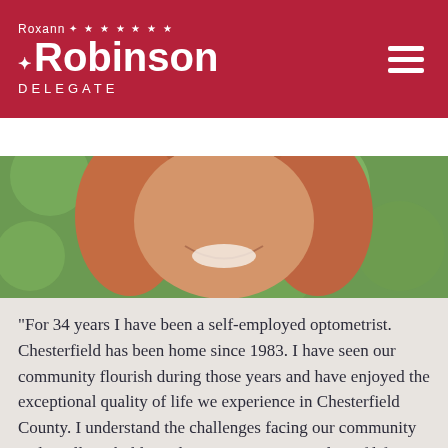Roxann Robinson DELEGATE
DONATE
[Figure (photo): Cropped photo of a smiling woman with reddish-brown hair against a green bokeh background]
"For 34 years I have been a self-employed optometrist. Chesterfield has been home since 1983. I have seen our community flourish during those years and have enjoyed the exceptional quality of life we experience in Chesterfield County. I understand the challenges facing our community and I will work diligently to preserve our quality of life. As a small healthcare business owner, I am well aware of how government red tape, regulations, and taxes are obstacles to business creation and expansion. I believe that creating new jobs, re-invigorating our workforce and giving the next